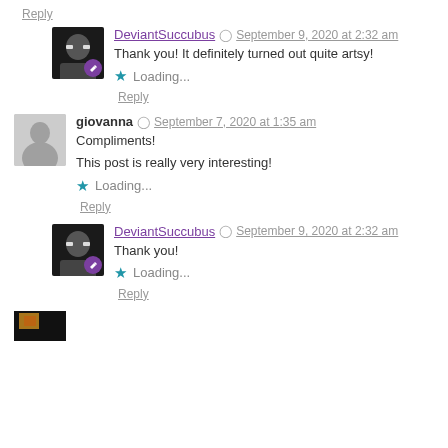Reply
DeviantSuccubus  September 9, 2020 at 2:32 am
Thank you! It definitely turned out quite artsy!
★ Loading...
Reply
giovanna  September 7, 2020 at 1:35 am
Compliments!
This post is really very interesting!
★ Loading...
Reply
DeviantSuccubus  September 9, 2020 at 2:32 am
Thank you!
★ Loading...
Reply
[Figure (photo): Partial avatar image at bottom of page, dark background with orange/brown tones]